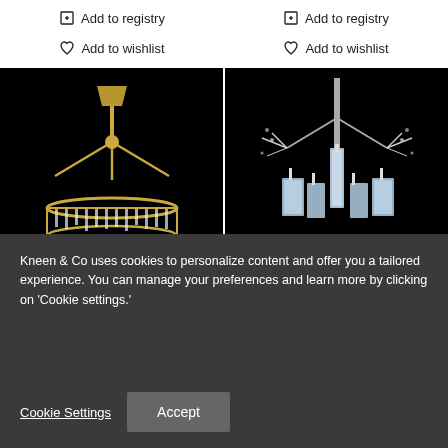Add to registry (left)
Add to registry (right)
Add to wishlist (left)
Add to wishlist (right)
[Figure (photo): Chandelier with brass/gold frame and crystal drops hanging against a black background]
[Figure (photo): Crystal chandelier with chrome frame and decorative branch elements against a black background]
Kneen & Co uses cookies to personalize content and offer you a tailored experience. You can manage your preferences and learn more by clicking on 'Cookie settings.'
Cookie Settings
Accept